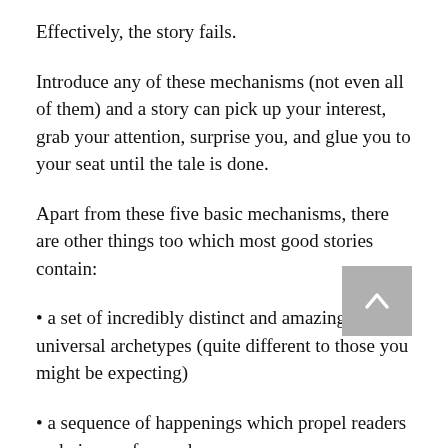Effectively, the story fails.
Introduce any of these mechanisms (not even all of them) and a story can pick up your interest, grab your attention, surprise you, and glue you to your seat until the tale is done.
Apart from these five basic mechanisms, there are other things too which most good stories contain:
• a set of incredibly distinct and amazingly universal archetypes (quite different to those you might be expecting)
• a sequence of happenings which propel readers and viewers forward